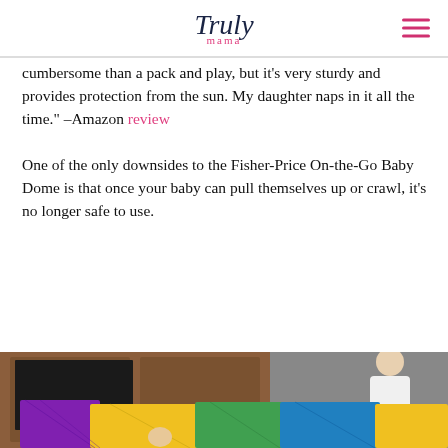Truly mama
cumbersome than a pack and play, but it's very sturdy and provides protection from the sun. My daughter naps in it all the time." –Amazon review

One of the only downsides to the Fisher-Price On-the-Go Baby Dome is that once your baby can pull themselves up or crawl, it's no longer safe to use.
[Figure (photo): Dark navy band with 4 filled gold stars and 1 empty grey star rating, above a photo of a colorful child play yard/gate (yellow, purple, blue, green panels) in a living room with a person standing beside it.]